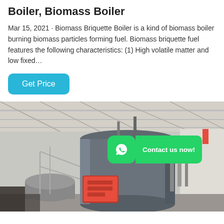Boiler, Biomass Boiler
Mar 15, 2021 · Biomass Briquette Boiler is a kind of biomass boiler burning biomass particles forming fuel. Biomass briquette fuel features the following characteristics: (1) High volatile matter and low fixed…
[Figure (photo): Industrial biomass boiler in a factory/warehouse setting. Large grey cylindrical boiler with red burner component, metal piping, indoor facility with white structural ceiling. WhatsApp contact badge overlaid on the image with text 'Contact us now!']